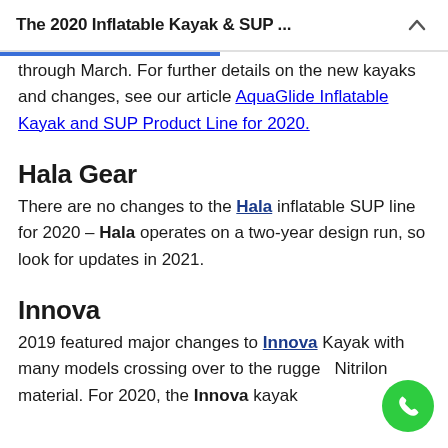The 2020 Inflatable Kayak & SUP ...
through March. For further details on the new kayaks and changes, see our article AquaGlide Inflatable Kayak and SUP Product Line for 2020.
Hala Gear
There are no changes to the Hala inflatable SUP line for 2020 – Hala operates on a two-year design run, so look for updates in 2021.
Innova
2019 featured major changes to Innova Kayak with many models crossing over to the rugged Nitrilon material. For 2020, the Innova kayak